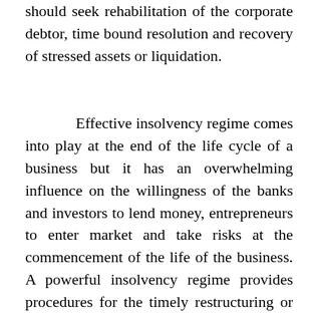should seek rehabilitation of the corporate debtor, time bound resolution and recovery of stressed assets or liquidation.
Effective insolvency regime comes into play at the end of the life cycle of a business but it has an overwhelming influence on the willingness of the banks and investors to lend money, entrepreneurs to enter market and take risks at the commencement of the life of the business. A powerful insolvency regime provides procedures for the timely restructuring or liquidation of the insolvent businesses. This research exhibits the impact made by insolvency framework on the Economic Development of India and will guide other nations in implementing a robust insolvency